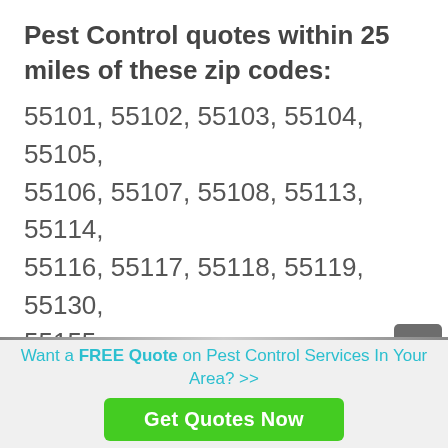Pest Control quotes within 25 miles of these zip codes:
55101, 55102, 55103, 55104, 55105, 55106, 55107, 55108, 55113, 55114, 55116, 55117, 55118, 55119, 55130, 55155
Want a FREE Quote on Pest Control Services In Your Area? >>
Get Quotes Now